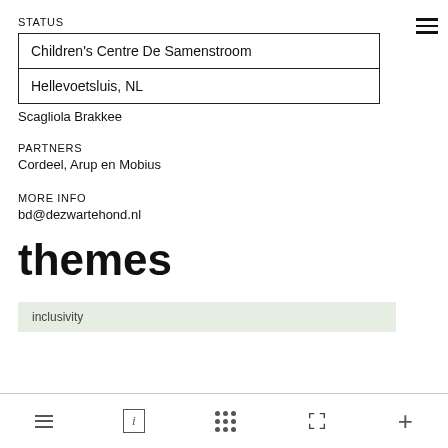STATUS
| Children's Centre De Samenstroom |
| Hellevoetsluis, NL |
Scagliola Brakkee
PARTNERS
Cordeel, Arup en Mobius
MORE INFO
bd@dezwartehond.nl
themes
inclusivity
≡  i  ··· ⛶ +